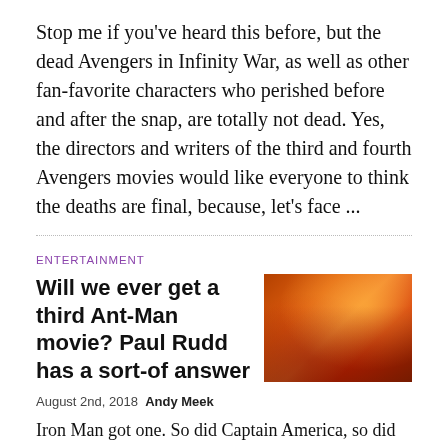Stop me if you've heard this before, but the dead Avengers in Infinity War, as well as other fan-favorite characters who perished before and after the snap, are totally not dead. Yes, the directors and writers of the third and fourth Avengers movies would like everyone to think the deaths are final, because, let's face ...
ENTERTAINMENT
Will we ever get a third Ant-Man movie? Paul Rudd has a sort-of answer
[Figure (photo): Movie poster or promotional image for Ant-Man, showing characters with orange and red dramatic lighting and color scheme]
August 2nd, 2018  Andy Meek
Iron Man got one. So did Captain America, so did Thor, and Guardians of the Galaxy will have theirs soon. But what about Ant-Man, the wisecracking master thief